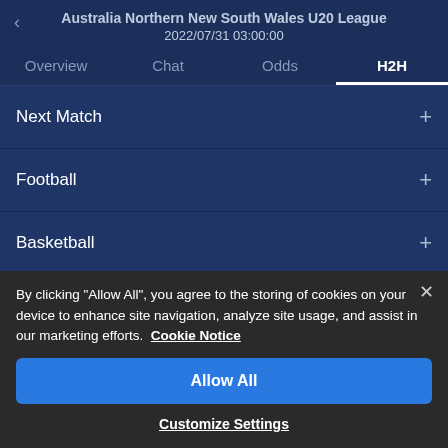Australia Northern New South Wales U20 League
2022/07/31 03:00:00
Overview | Chat | Odds | H2H
Next Match
Football
Basketball
Visit localized Football live score version of AiScore
By clicking "Allow All", you agree to the storing of cookies on your device to enhance site navigation, analyze site usage, and assist in our marketing efforts. Cookie Notice
Allow All
Customize Settings